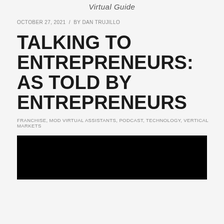Virtual Guide
OCTOBER 27, 2021  /  BY DAN TRUJILLO
TALKING TO ENTREPRENEURS: AS TOLD BY ENTREPRENEURS
FRANCHISE, MOD VIRTUAL ASSISTANTS, PODCAST, TECHNOLOGY, VERTICAL MARKETS
[Figure (photo): Black video/image embed block]